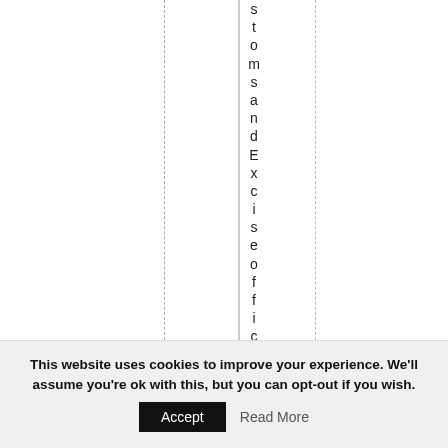customsandExciseofficer ant
This website uses cookies to improve your experience. We'll assume you're ok with this, but you can opt-out if you wish. Accept Read More